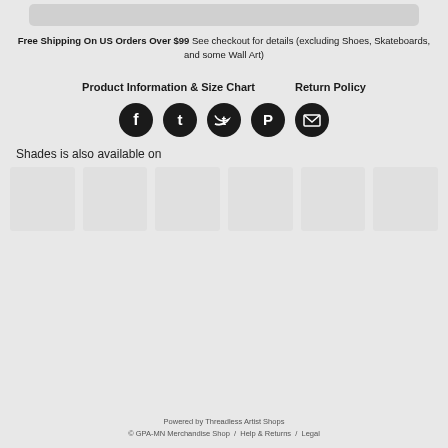[Figure (other): Add to Cart button (greyed out)]
Free Shipping On US Orders Over $99 See checkout for details (excluding Shoes, Skateboards, and some Wall Art)
Product Information & Size Chart   Return Policy
[Figure (other): Social media icons row: Facebook, Tumblr, Twitter, Pinterest, Email]
Shades is also available on
[Figure (other): Row of 6 product thumbnail placeholder images]
Powered by Threadless Artist Shops
© GPA-MN Merchandise Shop / Help & Returns / Legal